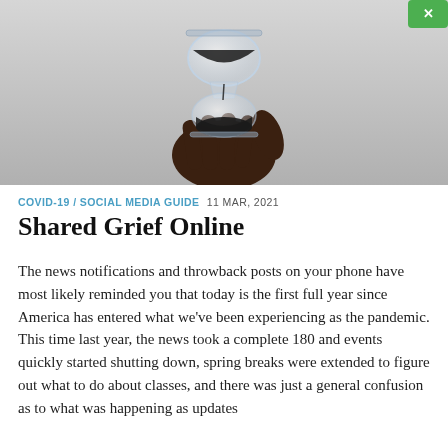[Figure (photo): A dark-skinned hand holding an hourglass with black sand against a light gray background. The upper bulb is mostly empty with some black sand residue; the lower bulb holds sand.]
COVID-19 / SOCIAL MEDIA GUIDE  11 MAR, 2021
Shared Grief Online
The news notifications and throwback posts on your phone have most likely reminded you that today is the first full year since America has entered what we've been experiencing as the pandemic. This time last year, the news took a complete 180 and events quickly started shutting down, spring breaks were extended to figure out what to do about classes, and there was just a general confusion as to what was happening as updates